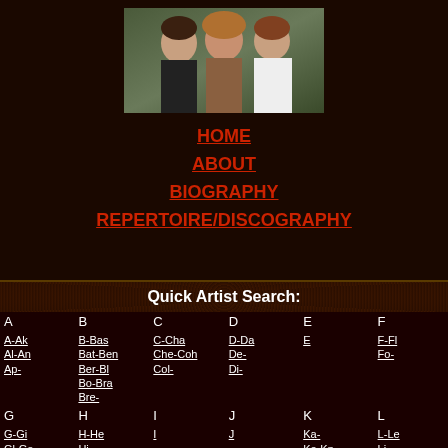[Figure (photo): Group photo of three people (two men and a woman) against a green outdoor background]
HOME
ABOUT
BIOGRAPHY
REPERTOIRE/DISCOGRAPHY
Quick Artist Search:
| A | B | C | D | E | F |
| --- | --- | --- | --- | --- | --- |
| A-Ak
Al-An
Ap- | B-Bas
Bat-Ben
Ber-Bl
Bo-Bra
Bre- | C-Cha
Che-Coh
Col- | D-Da
De-
Di- | E | F-Fl
Fo- |
| G | H | I | J | K | L |
| G-Gi
Gl-Go
Gr- | H-He
Hi- | I | J | Ka-
Ke-Kn
Ko- | L-Le
Li- |
| M | N | O | P | Q | R |